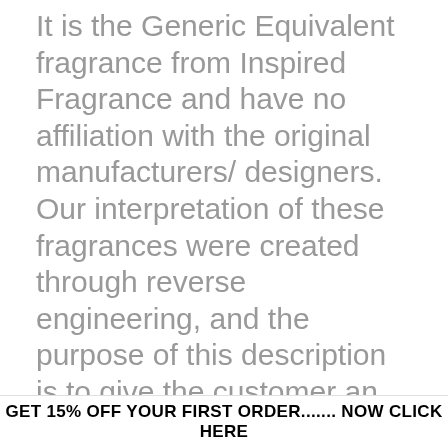It is the Generic Equivalent fragrance from Inspired Fragrance and have no affiliation with the original manufacturers/ designers. Our interpretation of these fragrances were created through reverse engineering, and the purpose of this description is to give the customer an idea of scent character, not to mislead or confuse the customer. This web site has no affiliation to and is not associated or sponsored by any of these trademark owners. This web site allows customers to compare prices and quality of the designer's brand
GET 15% OFF YOUR FIRST ORDER....... NOW CLICK HERE